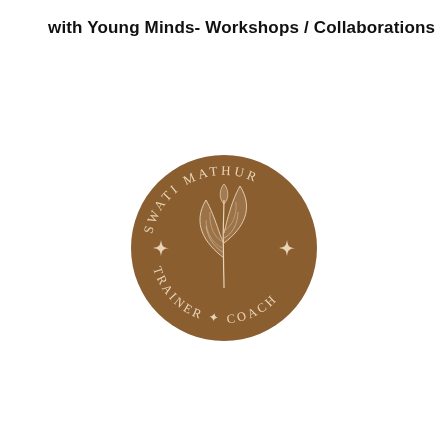with Young Minds- Workshops / Collaborations →
[Figure (logo): Circular brown logo for Swati Mathur - Trainer & Coach, featuring a botanical leaf illustration in the center with text arranged in a circle reading SWATI MATHUR at the top and TRAINER * COACH at the bottom, with four-pointed star decorations on the sides.]